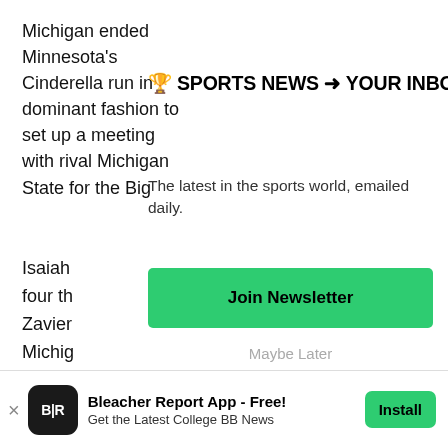Michigan ended Minnesota's Cinderella run in dominant fashion to set up a meeting with rival Michigan State for the Big
Isaiah
four th
Zavier
Michig
includ
🏆 SPORTS NEWS ➜ YOUR INBOX
The latest in the sports world, emailed daily.
Join Newsletter
Maybe Later
[Figure (screenshot): CBS Sports app icon with blue circle logo partial view]
Hey
Bleacher Report App - Free!
Get the Latest College BB News
Install